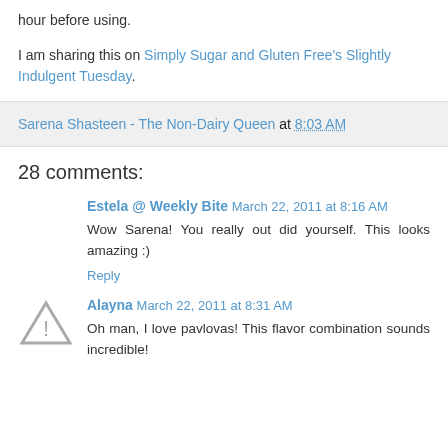hour before using.
I am sharing this on Simply Sugar and Gluten Free's Slightly Indulgent Tuesday.
Sarena Shasteen - The Non-Dairy Queen at 8:03 AM
28 comments:
Estela @ Weekly Bite March 22, 2011 at 8:16 AM
Wow Sarena! You really out did yourself. This looks amazing :)
Reply
Alayna March 22, 2011 at 8:31 AM
Oh man, I love pavlovas! This flavor combination sounds incredible!